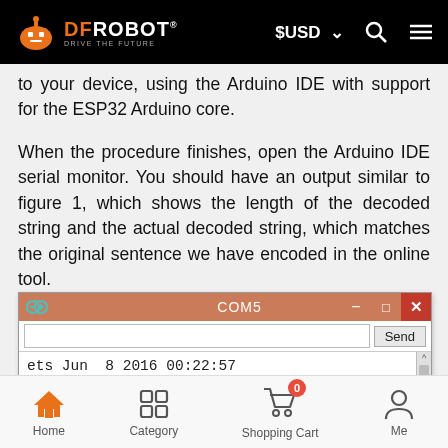DFRobot navigation bar with logo, $USD currency selector, search, and menu
to your device, using the Arduino IDE with support for the ESP32 Arduino core.
When the procedure finishes, open the Arduino IDE serial monitor. You should have an output similar to figure 1, which shows the length of the decoded string and the actual decoded string, which matches the original sentence we have encoded in the online tool.
[Figure (screenshot): Arduino IDE Serial Monitor window (COM5) showing input bar with Send button and output line: ets Jun  8 2016 00:22:57]
Home | Category | Shopping Cart (0) | Me